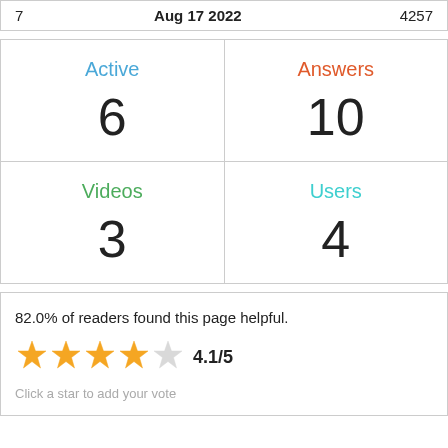| 7 | Aug 17 2022 | 4257 |
| Active | 6 | Answers | 10 |
| Videos | 3 | Users | 4 |
82.0% of readers found this page helpful.
[Figure (other): Star rating showing 4.1/5 stars with 4 filled orange stars and 1 empty star]
Click a star to add your vote